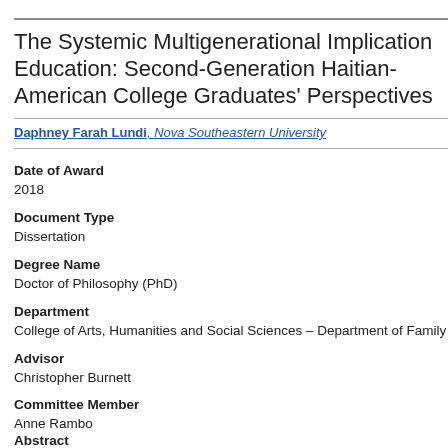The Systemic Multigenerational Implications of Education: Second-Generation Haitian-American College Graduates' Perspectives
Daphney Farah Lundi, Nova Southeastern University
Date of Award
2018
Document Type
Dissertation
Degree Name
Doctor of Philosophy (PhD)
Department
College of Arts, Humanities and Social Sciences – Department of Family Therapy
Advisor
Christopher Burnett
Committee Member
Anne Rambo
Committee Member
Robin Cooper
Abstract